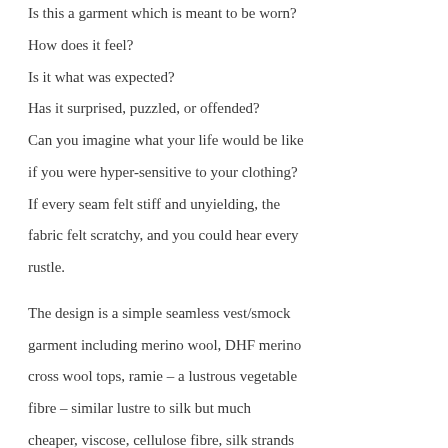Is this a garment which is meant to be worn? How does it feel? Is it what was expected? Has it surprised, puzzled, or offended? Can you imagine what your life would be like if you were hyper-sensitive to your clothing? If every seam felt stiff and unyielding, the fabric felt scratchy, and you could hear every rustle.

The design is a simple seamless vest/smock garment including merino wool, DHF merino cross wool tops, ramie – a lustrous vegetable fibre – similar lustre to silk but much cheaper, viscose, cellulose fibre, silk strands and Mulberry silk squares, white gauze and